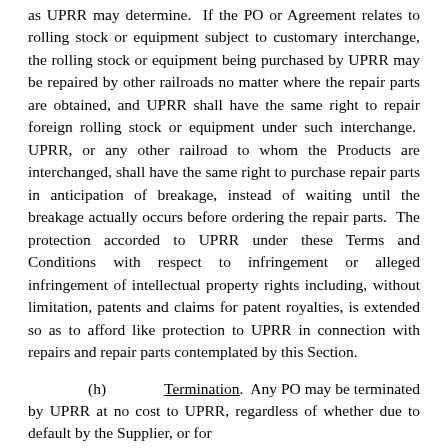as UPRR may determine.  If the PO or Agreement relates to rolling stock or equipment subject to customary interchange, the rolling stock or equipment being purchased by UPRR may be repaired by other railroads no matter where the repair parts are obtained, and UPRR shall have the same right to repair foreign rolling stock or equipment under such interchange.  UPRR, or any other railroad to whom the Products are interchanged, shall have the same right to purchase repair parts in anticipation of breakage, instead of waiting until the breakage actually occurs before ordering the repair parts.  The protection accorded to UPRR under these Terms and Conditions with respect to infringement or alleged infringement of intellectual property rights including, without limitation, patents and claims for patent royalties, is extended so as to afford like protection to UPRR in connection with repairs and repair parts contemplated by this Section.
(h)  Termination.  Any PO may be terminated by UPRR at no cost to UPRR, regardless of whether due to default by the Supplier, or for